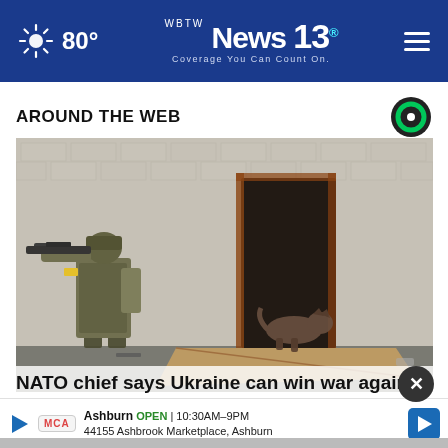80° WBTW News 13 Coverage You Can Count On.
AROUND THE WEB
[Figure (photo): A Ukrainian soldier in combat gear holding a rifle advances toward a doorway in a brick wall, while a military dog enters through the doorway. Cardboard and debris are on the ground.]
NATO chief says Ukraine can win war against Rus...
Ashburn OPEN | 10:30AM–9PM 44155 Ashbrook Marketplace, Ashburn